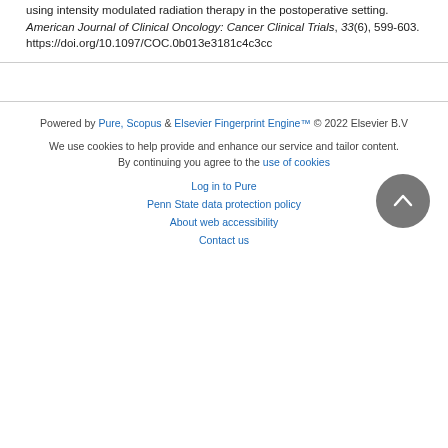using intensity modulated radiation therapy in the postoperative setting. American Journal of Clinical Oncology: Cancer Clinical Trials, 33(6), 599-603. https://doi.org/10.1097/COC.0b013e3181c4c3cc
Powered by Pure, Scopus & Elsevier Fingerprint Engine™ © 2022 Elsevier B.V

We use cookies to help provide and enhance our service and tailor content. By continuing you agree to the use of cookies

Log in to Pure

Penn State data protection policy

About web accessibility

Contact us